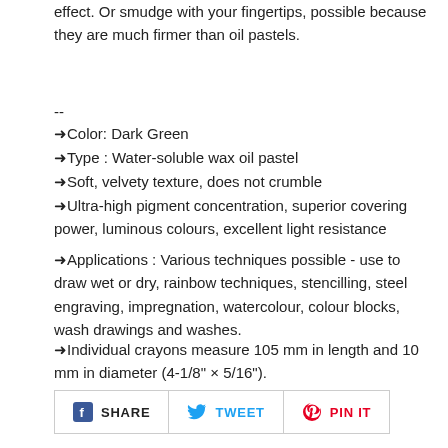effect. Or smudge with your fingertips, possible because they are much firmer than oil pastels.
--
➜Color: Dark Green
➜Type : Water-soluble wax oil pastel
➜Soft, velvety texture, does not crumble
➜Ultra-high pigment concentration, superior covering power, luminous colours, excellent light resistance
➜Applications : Various techniques possible - use to draw wet or dry, rainbow techniques, stencilling, steel engraving, impregnation, watercolour, colour blocks, wash drawings and washes.
➜Individual crayons measure 105 mm in length and 10 mm in diameter (4-1/8" × 5/16").
[Figure (other): Social share buttons: SHARE (Facebook), TWEET (Twitter), PIN IT (Pinterest)]